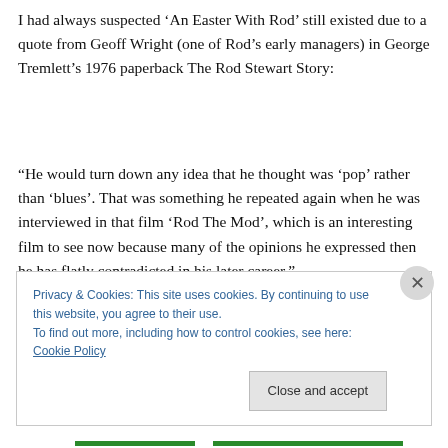I had always suspected 'An Easter With Rod' still existed due to a quote from Geoff Wright (one of Rod's early managers) in George Tremlett's 1976 paperback The Rod Stewart Story:
“He would turn down any idea that he thought was ‘pop’ rather than ‘blues’. That was something he repeated again when he was interviewed in that film ‘Rod The Mod’, which is an interesting film to see now because many of the opinions he expressed then he has flatly contradicted in his later career.”
Privacy & Cookies: This site uses cookies. By continuing to use this website, you agree to their use. To find out more, including how to control cookies, see here: Cookie Policy